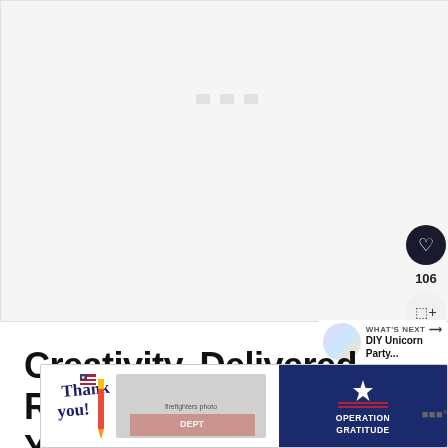[Figure (photo): Large white/light grey placeholder area representing a video or image content area at the top of the page]
[Figure (infographic): Side panel with a dark circular heart/like button, like count '106', and a share button with + icon]
[Figure (other): What's Next panel with circular thumbnail, label 'WHAT'S NEXT →', and text 'DIY Unicorn Party...']
Creativity, Delivered Right Your Inbox
[Figure (screenshot): Advertisement banner showing 'Thank you!' text with pencil illustration and American flag, firefighters group photo, and Operation Gratitude logo on dark blue background, with X close button]